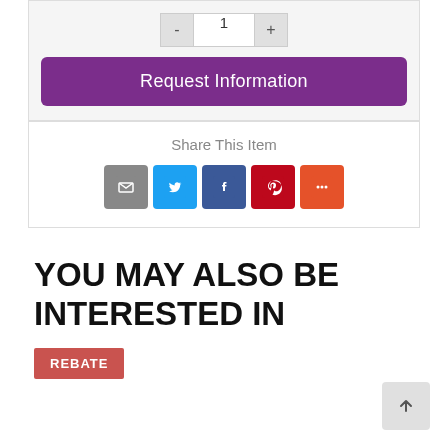[Figure (screenshot): Quantity selector with minus button, input showing 1, and plus button]
Request Information
Share This Item
[Figure (other): Social share icons: email (grey), Twitter (blue), Facebook (dark blue), Pinterest (red), More (orange-red)]
YOU MAY ALSO BE INTERESTED IN
REBATE